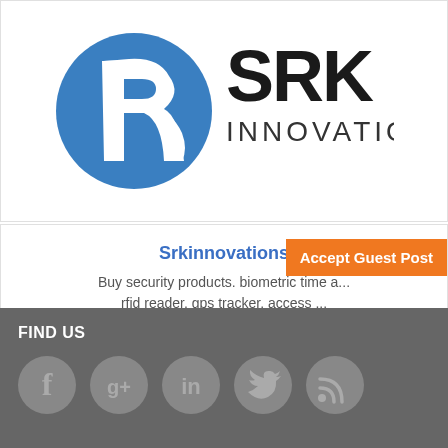[Figure (logo): SRK Innovations logo: blue circular emblem with stylized R letter, next to bold text 'SRK INNOVATIONS']
Srkinnovations
Buy security products. biometric time a... rfid reader, gps tracker, access ...
Plot No 110, New Dyneshwar Nagar, Near Balaji Nagar, Manewada Road, Nagp...
Accept Guest Post
FIND US
[Figure (infographic): Social media icons in grey circles: Facebook, Google+, LinkedIn, Twitter, RSS feed]